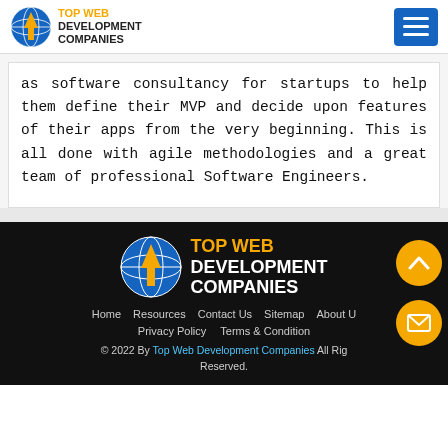Top Web Development Companies
as software consultancy for startups to help them define their MVP and decide upon features of their apps from the very beginning. This is all done with agile methodologies and a great team of professional Software Engineers.
[Figure (logo): Top Web Development Companies footer logo with globe and arrow icon]
Home  Resources  Contact Us  Sitemap  About U... Privacy Policy  Terms & Condition  © 2022 By Top Web Development Companies All Rights Reserved.